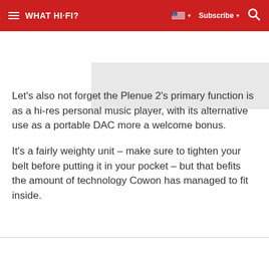WHAT HI-FI?   Subscribe
[Figure (photo): Gray placeholder image area for article content]
Let's also not forget the Plenue 2's primary function is as a hi-res personal music player, with its alternative use as a portable DAC more a welcome bonus.
It's a fairly weighty unit – make sure to tighten your belt before putting it in your pocket – but that befits the amount of technology Cowon has managed to fit inside.